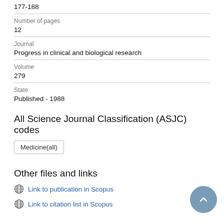177-188
Number of pages
12
Journal
Progress in clinical and biological research
Volume
279
State
Published - 1988
All Science Journal Classification (ASJC) codes
Medicine(all)
Other files and links
Link to publication in Scopus
Link to citation list in Scopus